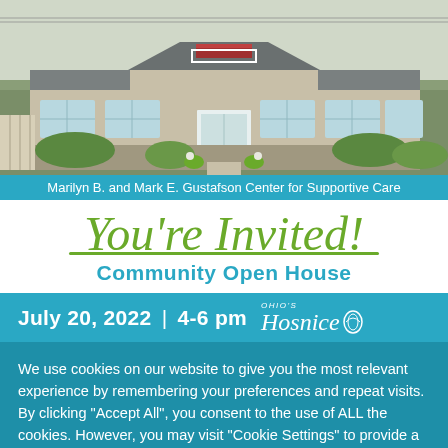[Figure (photo): Exterior photo of the Marilyn B. and Mark E. Gustafson Center for Supportive Care building — a single-story tan/gray building with a covered entrance, stone accents, and landscaping.]
Marilyn B. and Mark E. Gustafson Center for Supportive Care
You're Invited!
Community Open House
July 20, 2022 | 4-6 pm  Ohio's Hosnice
We use cookies on our website to give you the most relevant experience by remembering your preferences and repeat visits. By clicking "Accept All", you consent to the use of ALL the cookies. However, you may visit "Cookie Settings" to provide a controlled consent.
Cookie Settings | Cookie Policy | Accept All Cookies